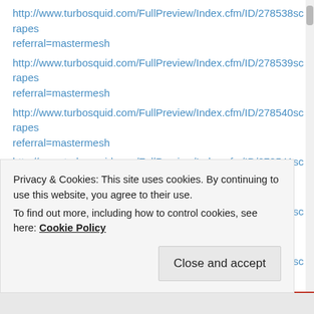http://www.turbosquid.com/FullPreview/Index.cfm/ID/278538scrapes referral=mastermesh
http://www.turbosquid.com/FullPreview/Index.cfm/ID/278539scrapes referral=mastermesh
http://www.turbosquid.com/FullPreview/Index.cfm/ID/278540scrapes referral=mastermesh
http://www.turbosquid.com/FullPreview/Index.cfm/ID/278541scrapes referral=mastermesh
http://www.turbosquid.com/FullPreview/Index.cfm/ID/278542scrapes referral=mastermesh
http://www.turbosquid.com/FullPreview/Index.cfm/ID/278543scrapes referral=mastermesh
http://www.turbosquid.com/FullPreview/Index.cfm/ID/278544scrapes referral=mastermesh
Privacy & Cookies: This site uses cookies. By continuing to use this website, you agree to their use. To find out more, including how to control cookies, see here: Cookie Policy